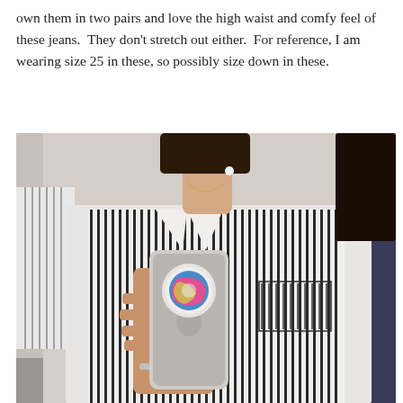own them in two pairs and love the high waist and comfy feel of these jeans.  They don't stretch out either.  For reference, I am wearing size 25 in these, so possibly size down in these.
[Figure (photo): Mirror selfie of a woman wearing a black and white striped button-down shirt, holding a phone with a colorful popsocket (blue/pink tie-dye pattern). She has dark hair and is wearing earbuds. A striped jacket is visible in the background on the left.]